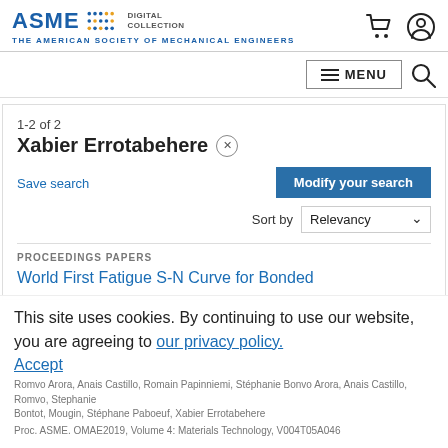[Figure (logo): ASME Digital Collection logo with tagline 'The American Society of Mechanical Engineers']
1-2 of 2
Xabier Errotabehere
Save search
Modify your search
Sort by Relevancy
PROCEEDINGS PAPERS
World First Fatigue S-N Curve for Bonded
This site uses cookies. By continuing to use our website, you are agreeing to our privacy policy. Accept